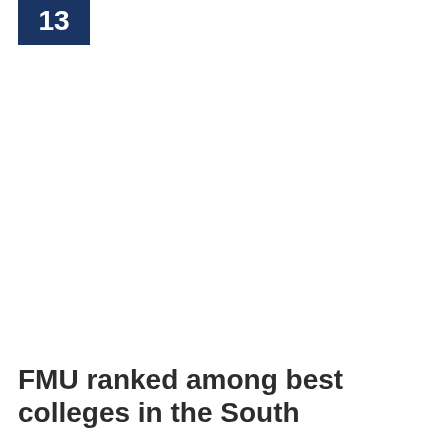13
FMU ranked among best colleges in the South